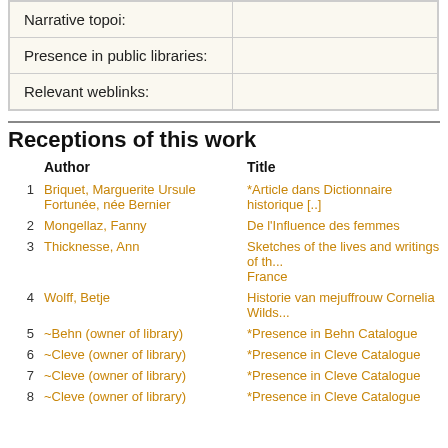|  |  |
| --- | --- |
| Narrative topoi: |  |
| Presence in public libraries: |  |
| Relevant weblinks: |  |
Receptions of this work
|  | Author | Title |
| --- | --- | --- |
| 1 | Briquet, Marguerite Ursule Fortunée, née Bernier | *Article dans Dictionnaire historique [..] |
| 2 | Mongellaz, Fanny | De l'Influence des femmes |
| 3 | Thicknesse, Ann | Sketches of the lives and writings of th... France |
| 4 | Wolff, Betje | Historie van mejuffrouw Cornelia Wilds... |
| 5 | ~Behn (owner of library) | *Presence in Behn Catalogue |
| 6 | ~Cleve (owner of library) | *Presence in Cleve Catalogue |
| 7 | ~Cleve (owner of library) | *Presence in Cleve Catalogue |
| 8 | ~Cleve (owner of library) | *Presence in Cleve Catalogue |